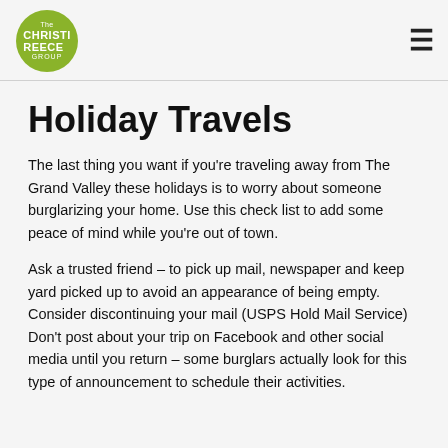Christi Reece [logo]
Holiday Travels
The last thing you want if you're traveling away from The Grand Valley these holidays is to worry about someone burglarizing your home. Use this check list to add some peace of mind while you're out of town.
Ask a trusted friend – to pick up mail, newspaper and keep yard picked up to avoid an appearance of being empty. Consider discontinuing your mail (USPS Hold Mail Service)
Don't post about your trip on Facebook and other social media until you return – some burglars actually look for this type of announcement to schedule their activities.